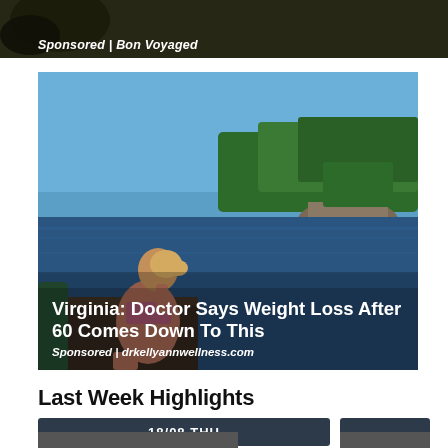[Figure (photo): Top sponsored ad with dark background, text 'Sponsored | Bon Voyaged']
Sponsored | Bon Voyaged
[Figure (photo): Woman in bikini sitting on a dock by a lake surrounded by trees and rocky shores. Sponsored ad for drkellyannwellness.com.]
Virginia: Doctor Says Weight Loss After 60 Comes Down To This
Sponsored | drkellyannwellness.com
Last Week Highlights
[Figure (photo): Date bar showing '18/08 THU' on dark background, part of a weekly highlights section]